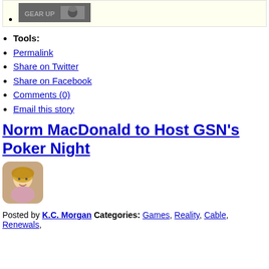[Figure (photo): Thumbnail image of a person in a light-colored background area at the top of the page, shown as a bullet list item]
Tools:
Permalink
Share on Twitter
Share on Facebook
Comments (0)
Email this story
Norm MacDonald to Host GSN’s Poker Night
[Figure (photo): Small rounded-corner avatar photo of a young blonde girl (K.C. Morgan author photo)]
Posted by K.C. Morgan Categories: Games, Reality, Cable, Renewals,